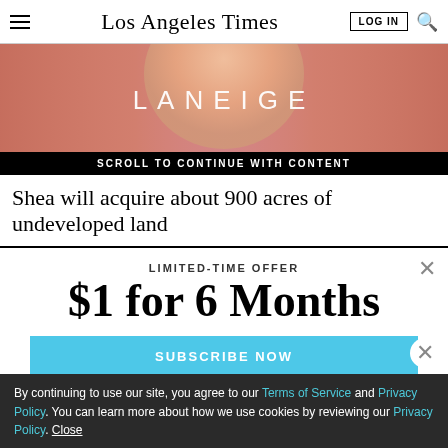Los Angeles Times
[Figure (photo): Advertisement banner for LANEIGE with a person's face and pink background]
SCROLL TO CONTINUE WITH CONTENT
Shea will acquire about 900 acres of undeveloped land
LIMITED-TIME OFFER
$1 for 6 Months
SUBSCRIBE NOW
By continuing to use our site, you agree to our Terms of Service and Privacy Policy. You can learn more about how we use cookies by reviewing our Privacy Policy. Close